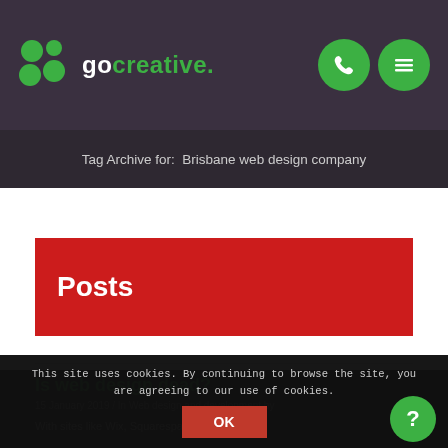[Figure (logo): GoCreative logo with green dots and white text on dark purple header, plus phone and menu icon buttons]
Tag Archive for: Brisbane web design company
Posts
Is web design dead?
15 January 2019 / In Web design and development by
With sites like Wix, Squarespace and Shopify...
This site uses cookies. By continuing to browse the site, you are agreeing to our use of cookies.